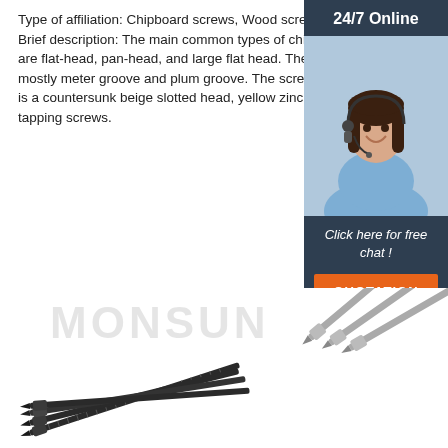Type of affiliation: Chipboard screws, Wood screws
Brief description: The main common types of chipboard screws are flat-head, pan-head, and large flat head. The groove type is mostly meter groove and plum groove. The screw shown here is a countersunk beige slotted head, yellow zinc plated. Sharp tapping screws.
[Figure (illustration): Orange 'Get Price' button]
[Figure (infographic): 24/7 Online customer service sidebar with a woman wearing a headset, 'Click here for free chat!' text, and orange QUOTATION button on dark blue background]
[Figure (photo): Multiple chipboard/wood screws fanned out on white background with MONSUN watermark text]